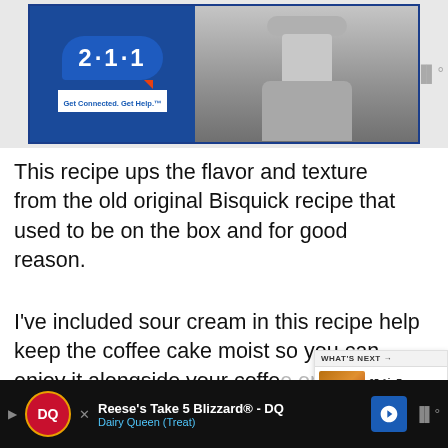[Figure (screenshot): Advertisement banner showing '2·1·1 Get Connected. Get Help.' logo on dark blue background alongside a grayscale photo of a person in a denim jacket. A mute icon appears to the right.]
This recipe ups the flavor and texture from the old original Bisquick recipe that used to be on the box and for good reason.
I've included sour cream in this recipe help keep the coffee cake moist so you can enjoy it alongside your coffee or even hot cocoa balls.
[Figure (screenshot): WHAT'S NEXT panel showing '65 Air Fryer Recipes For...' with a thumbnail of food]
[Figure (screenshot): Dairy Queen advertisement banner: Reese's Take 5 Blizzard® - DQ, Dairy Queen (Treat) with DQ logo and blue arrow button]